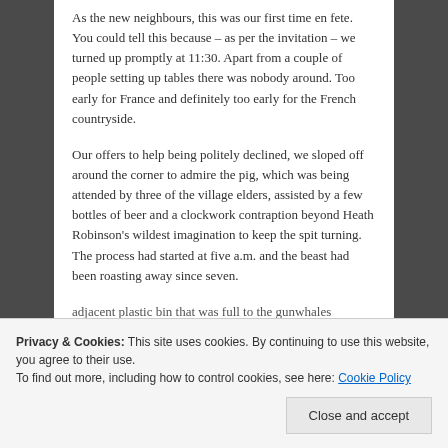As the new neighbours, this was our first time en fete. You could tell this because – as per the invitation – we turned up promptly at 11:30. Apart from a couple of people setting up tables there was nobody around. Too early for France and definitely too early for the French countryside.
Our offers to help being politely declined, we sloped off around the corner to admire the pig, which was being attended by three of the village elders, assisted by a few bottles of beer and a clockwork contraption beyond Heath Robinson's wildest imagination to keep the spit turning. The process had started at five a.m. and the beast had been roasting away since seven.
adjacent plastic bin that was full to the gunwhales
Privacy & Cookies: This site uses cookies. By continuing to use this website, you agree to their use.
To find out more, including how to control cookies, see here: Cookie Policy